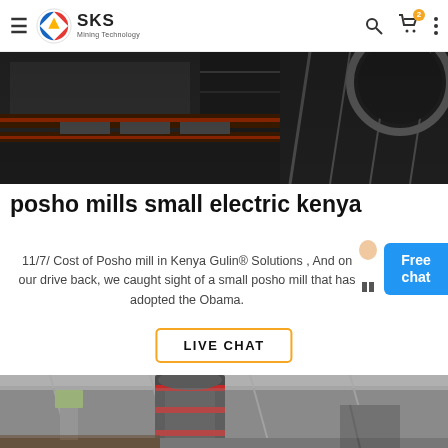SKS Mining Technology
[Figure (photo): Industrial mining machine interior, dark metallic equipment with conveyor belts]
posho mills small electric kenya
11/7/ Cost of Posho mill in Kenya Gulin® Solutions , And on our drive back, we caught sight of a small posho mill that has adopted the Obama.
[Figure (other): Free chat widget with female assistant avatar]
LIVE CHAT
[Figure (photo): Large industrial grinding mill machine inside a warehouse building with steel roof structure]